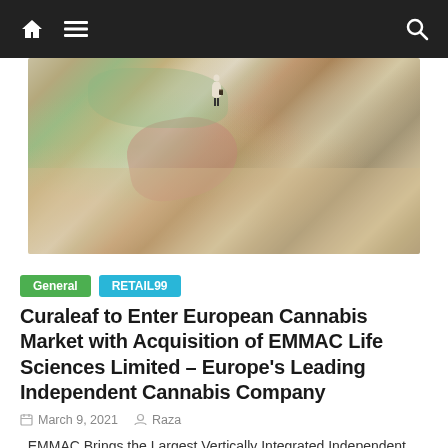Navigation bar with home, menu, and search icons
[Figure (photo): Aerial/close-up view of a colorful world map with a small figurine of a person standing on it, holding a briefcase, positioned over the Europe/Mediterranean region]
General  RETAIL99
Curaleaf to Enter European Cannabis Market with Acquisition of EMMAC Life Sciences Limited – Europe's Leading Independent Cannabis Company
March 9, 2021   Raza
EMMAC Brings the Largest Vertically Integrated Independent Cannabis Company in Europe with a